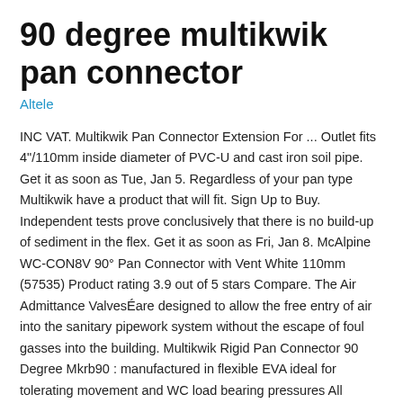90 degree multikwik pan connector
Altele
INC VAT. Multikwik Pan Connector Extension For ... Outlet fits 4"/110mm inside diameter of PVC-U and cast iron soil pipe. Get it as soon as Tue, Jan 5. Regardless of your pan type Multikwik have a product that will fit. Sign Up to Buy. Independent tests prove conclusively that there is no build-up of sediment in the flex. Get it as soon as Fri, Jan 8. McAlpine WC-CON8V 90° Pan Connector with Vent White 110mm (57535) Product rating 3.9 out of 5 stars Compare. The Air Admittance ValvesÉare designed to allow the free entry of air into the sanitary pipework system without the escape of foul gasses into the building. Multikwik Rigid Pan Connector 90 Degree Mkrb90 : manufactured in flexible EVA ideal for tolerating movement and WC load bearing pressures All Multikwik Fins have been designed to be multi depth for secure